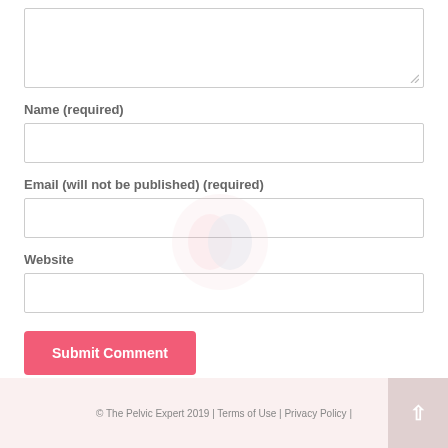(textarea/comment box)
Name (required)
(name input field)
Email (will not be published) (required)
(email input field)
Website
(website input field)
Submit Comment
© The Pelvic Expert 2019 | Terms of Use | Privacy Policy |